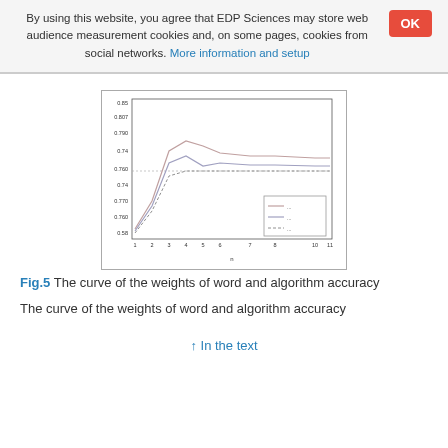By using this website, you agree that EDP Sciences may store web audience measurement cookies and, on some pages, cookies from social networks. More information and setup
[Figure (continuous-plot): Line chart showing the curve of the weights of word and algorithm accuracy over iterations (x-axis: n, approximately 0 to 10+). Multiple lines are shown rising then leveling off around 0.76-0.80, with a legend in the lower right.]
Fig.5 The curve of the weights of word and algorithm accuracy
The curve of the weights of word and algorithm accuracy
In the text